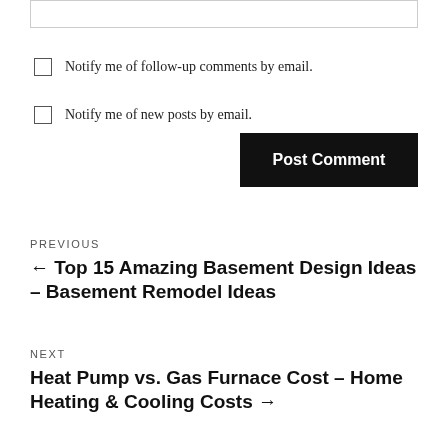[Figure (screenshot): Empty textarea input box at the top of the page]
Notify me of follow-up comments by email.
Notify me of new posts by email.
Post Comment
PREVIOUS
← Top 15 Amazing Basement Design Ideas – Basement Remodel Ideas
NEXT
Heat Pump vs. Gas Furnace Cost – Home Heating & Cooling Costs →